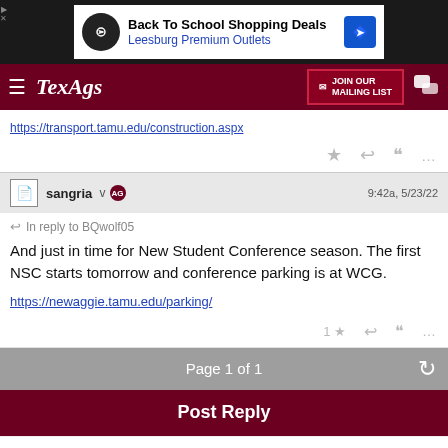[Figure (screenshot): Ad banner: Back To School Shopping Deals – Leesburg Premium Outlets]
TexAgs – JOIN OUR MAILING LIST
https://transport.tamu.edu/construction.aspx
sangria v AG  9:42a, 5/23/22
In reply to BQwolf05
And just in time for New Student Conference season. The first NSC starts tomorrow and conference parking is at WCG.
https://newaggie.tamu.edu/parking/
Page 1 of 1
Post Reply
Forums  Aggieland